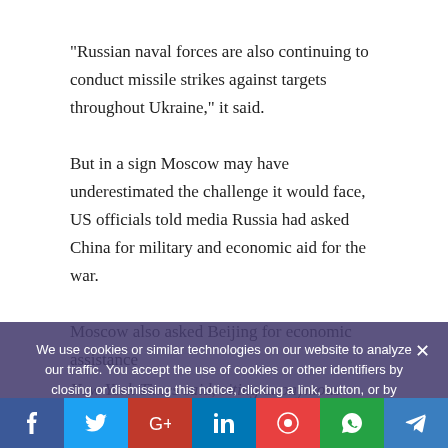“Russian naval forces are also continuing to conduct missile strikes against targets throughout Ukraine,” it said.
But in a sign Moscow may have underestimated the challenge it would face, US officials told media Russia had asked China for military and economic aid for the war.
Moscow also asked Beijing for economic assistance
New York Times said, citing anonymous officials.
A spokesperson for the Chinese embassy in
We use cookies or similar technologies on our website to analyze our traffic. You accept the use of cookies or other identifiers by closing or dismissing this notice, clicking a link, button, or by continuing to browse this website.
AGREE